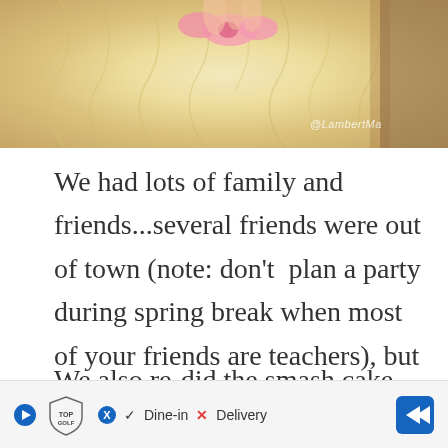[Figure (photo): Close-up photo of what appears to be a fluffy cream/yellow tulle or feathery fabric with a pink bow or ribbon on top, with a watermark partially visible in the bottom right.]
We had lots of family and friends...several friends were out of town (note: don't  plan a party during spring break when most of your friends are teachers), but we loved having the ones that got to make it!
We also re-did the smash cake experience.
If you follow me on twitter/instagram, you prob
[Figure (other): Advertisement bar at bottom: TopGolf logo with play button icon, Dine-in with checkmark, X Delivery, and blue arrow navigation button.]